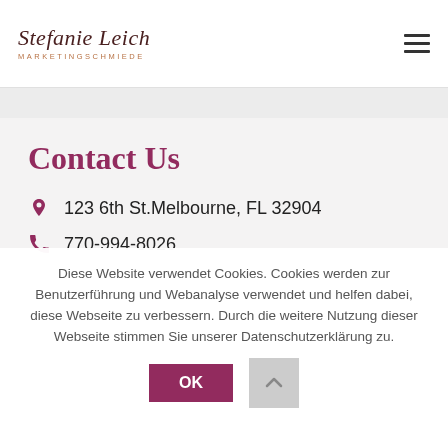Stefanie Leich MARKETINGSCHMIEDE
Contact Us
123 6th St.Melbourne, FL 32904
770-994-8026
Diese Website verwendet Cookies. Cookies werden zur Benutzerführung und Webanalyse verwendet und helfen dabei, diese Webseite zu verbessern. Durch die weitere Nutzung dieser Webseite stimmen Sie unserer Datenschutzerklärung zu.